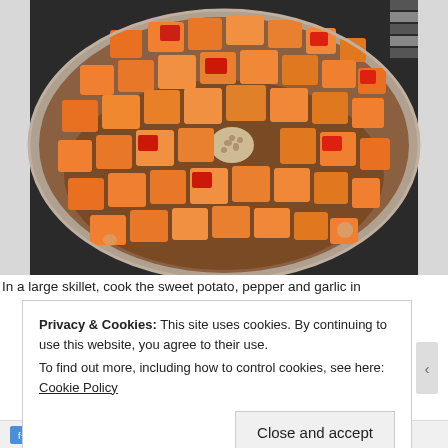[Figure (photo): Overhead view of a large stainless steel skillet on a stove, filled with cubed orange sweet potato and diced red pepper, with a small mound of minced garlic or spice visible in the center.]
In a large skillet, cook the sweet potato, pepper and garlic in
Privacy & Cookies: This site uses cookies. By continuing to use this website, you agree to their use.
To find out more, including how to control cookies, see here: Cookie Policy
Close and accept
Follow